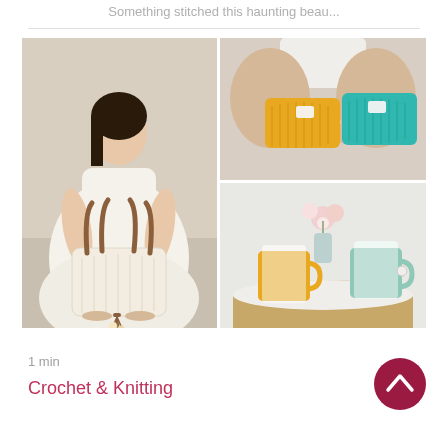Something stitched this haunting beau...
[Figure (photo): Collage of three crochet/knitting product photos: left - woman holding a large white crocheted tote bag with brown leather handles and tassels; top right - person holding yellow and turquoise crocheted pouches/clutches; bottom right - yellow and mint green crocheted mug cozies on cups on a table with flowers]
1 min
Crochet & Knitting